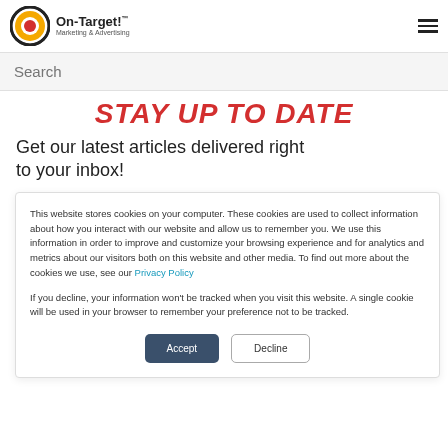On-Target! Marketing & Advertising
Search
STAY UP TO DATE
Get our latest articles delivered right to your inbox!
This website stores cookies on your computer. These cookies are used to collect information about how you interact with our website and allow us to remember you. We use this information in order to improve and customize your browsing experience and for analytics and metrics about our visitors both on this website and other media. To find out more about the cookies we use, see our Privacy Policy
If you decline, your information won't be tracked when you visit this website. A single cookie will be used in your browser to remember your preference not to be tracked.
Accept
Decline